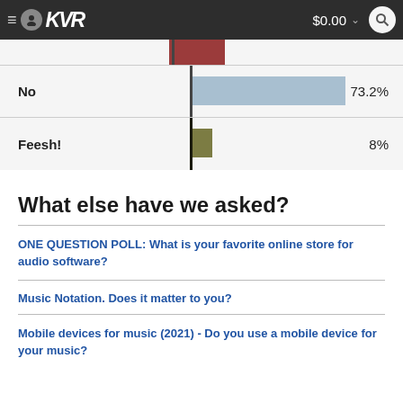KVR  $0.00
[Figure (bar-chart): Poll results (partial)]
What else have we asked?
ONE QUESTION POLL: What is your favorite online store for audio software?
Music Notation. Does it matter to you?
Mobile devices for music (2021) - Do you use a mobile device for your music?